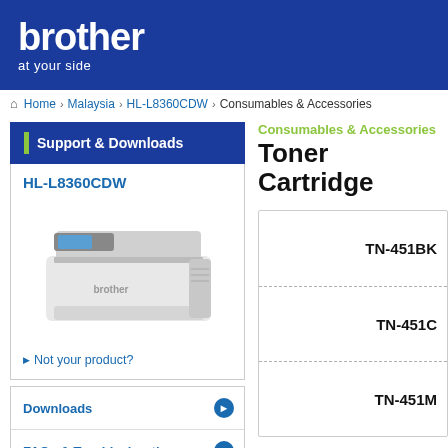[Figure (logo): Brother 'at your side' logo on dark blue background]
Home > Malaysia > HL-L8360CDW > Consumables & Accessories
Support & Downloads
HL-L8360CDW
[Figure (photo): Brother HL-L8360CDW color laser printer photo]
Not your product?
Downloads
FAQs & Troubleshooting
Manuals
Consumables & Accessories
Toner Cartridge
TN-451BK
TN-451C
TN-451M